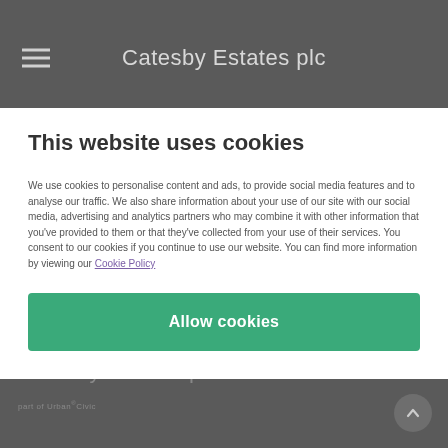Catesby Estates plc
This website uses cookies
We use cookies to personalise content and ads, to provide social media features and to analyse our traffic. We also share information about your use of our site with our social media, advertising and analytics partners who may combine it with other information that you've provided to them or that they've collected from your use of their services. You consent to our cookies if you continue to use our website. You can find more information by viewing our Cookie Policy
Allow cookies
Catesby Estates plc part of Urban®Civic